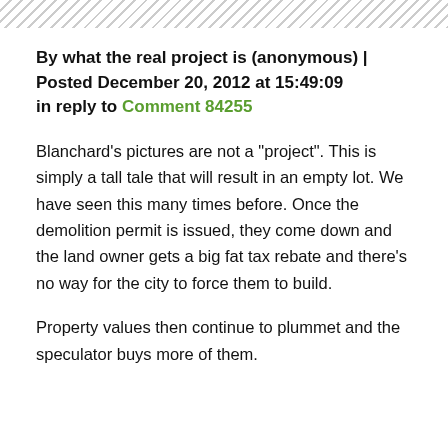By what the real project is (anonymous) | Posted December 20, 2012 at 15:49:09 in reply to Comment 84255
Blanchard's pictures are not a "project". This is simply a tall tale that will result in an empty lot. We have seen this many times before. Once the demolition permit is issued, they come down and the land owner gets a big fat tax rebate and there's no way for the city to force them to build.
Property values then continue to plummet and the speculator buys more of them.